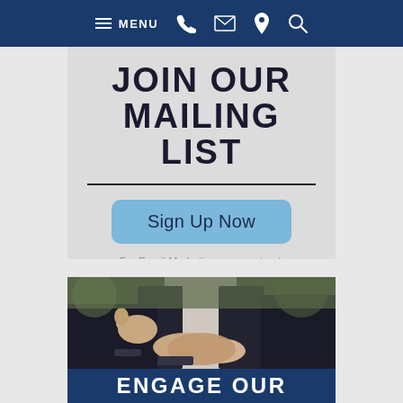MENU [hamburger icon] [phone icon] [email icon] [location icon] [search icon]
JOIN OUR MAILING LIST
Sign Up Now
For Email Marketing you can trust.
[Figure (photo): Business people in suits shaking hands outdoors, with a third person gesturing in the background.]
ENGAGE OUR